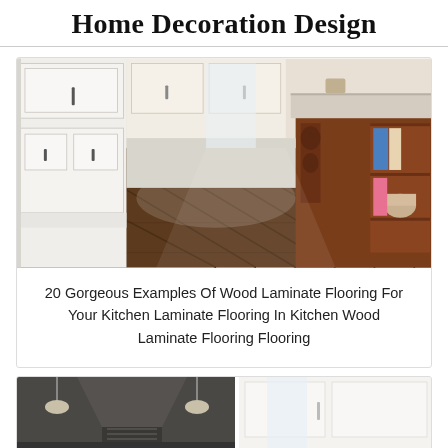Home Decoration Design
[Figure (photo): Kitchen interior with dark wood laminate flooring, white cabinetry on the left and a dark ornate wooden kitchen island on the right with books and decorative items on shelves]
20 Gorgeous Examples Of Wood Laminate Flooring For Your Kitchen Laminate Flooring In Kitchen Wood Laminate Flooring Flooring
[Figure (photo): Partial view of a second kitchen scene showing a range hood and white cabinetry]